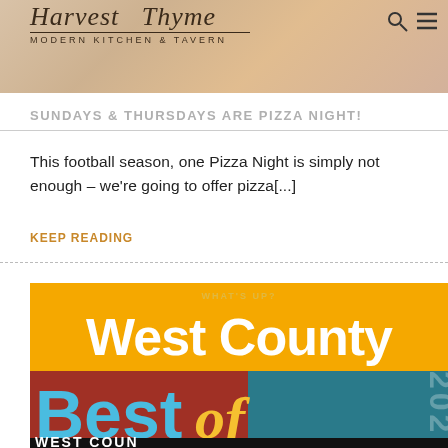Harvest Thyme MODERN KITCHEN & TAVERN
SUNDAYS & THURSDAYS ARE PIZZA NIGHT!
This football season, one Pizza Night is simply not enough – we're going to offer pizza[...]
KEEP READING
[Figure (photo): What's Up West County magazine cover showing 'Best of West County' award logo with bold typography on a yellow/gold background with red, teal color blocks and the text '202' vertically on the right side.]